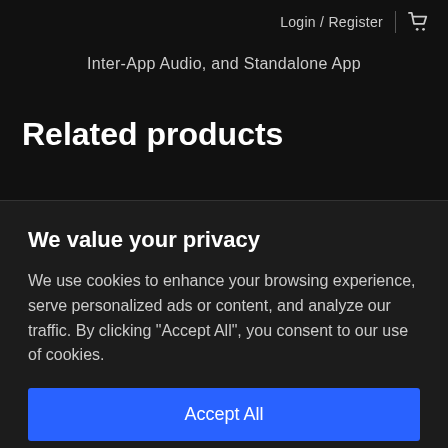Login / Register
Inter-App Audio, and Standalone App
Related products
We value your privacy
We use cookies to enhance your browsing experience, serve personalized ads or content, and analyze our traffic. By clicking "Accept All", you consent to our use of cookies.
Accept All
Customize
Reject All